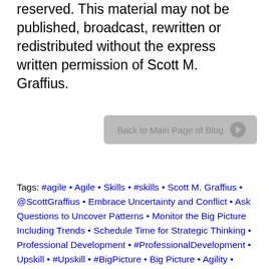reserved. This material may not be published, broadcast, rewritten or redistributed without the express written permission of Scott M. Graffius.
[Figure (other): Back to Main Page of Blog button with arrow icon, grey rounded rectangle]
Tags: #agile • Agile • Skills • #skills • Scott M. Graffius • @ScottGraffius • Embrace Uncertainty and Conflict • Ask Questions to Uncover Patterns • Monitor the Big Picture Including Trends • Schedule Time for Strategic Thinking • Professional Development • #ProfessionalDevelopment • Upskill • #Upskill • #BigPicture • Big Picture • Agility • #agility • Business • #business • Business Agility • #businessagility